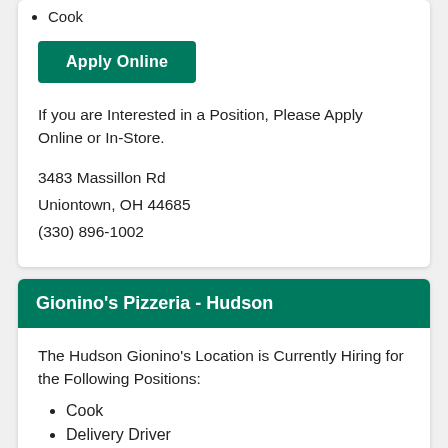Cook
Apply Online
If you are Interested in a Position, Please Apply Online or In-Store.
3483 Massillon Rd
Uniontown, OH 44685
(330) 896-1002
Gionino's Pizzeria - Hudson
The Hudson Gionino's Location is Currently Hiring for the Following Positions:
Cook
Delivery Driver
Manager
Apply Online